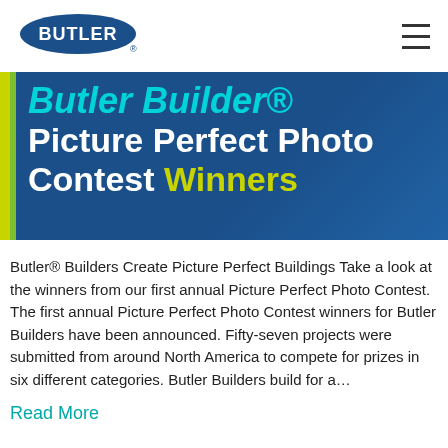[Figure (logo): Butler logo — blue oval with white BUTLER text]
[Figure (screenshot): Butler Builder Picture Perfect Photo Contest Winners banner — dark blue background with yellow/green left stripe, teal italic 'Butler Builder®' text and white bold 'Picture Perfect Photo Contest' text with yellow 'Winners']
Butler® Builders Create Picture Perfect Buildings Take a look at the winners from our first annual Picture Perfect Photo Contest. The first annual Picture Perfect Photo Contest winners for Butler Builders have been announced. Fifty-seven projects were submitted from around North America to compete for prizes in six different categories. Butler Builders build for a…
Read More